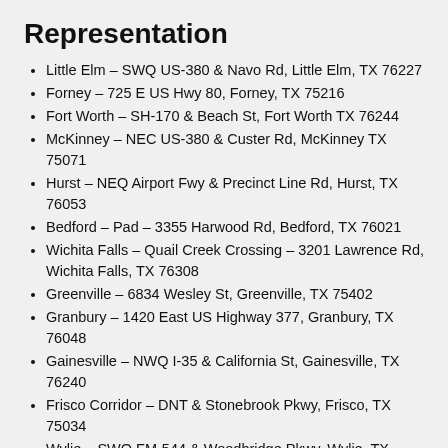Representation
Little Elm – SWQ US-380 & Navo Rd, Little Elm, TX 76227
Forney – 725 E US Hwy 80, Forney, TX 75216
Fort Worth – SH-170 & Beach St, Fort Worth TX 76244
McKinney – NEC US-380 & Custer Rd, McKinney TX 75071
Hurst – NEQ Airport Fwy & Precinct Line Rd, Hurst, TX 76053
Bedford – Pad – 3355 Harwood Rd, Bedford, TX 76021
Wichita Falls – Quail Creek Crossing – 3201 Lawrence Rd, Wichita Falls, TX 76308
Greenville – 6834 Wesley St, Greenville, TX 75402
Granbury – 1420 East US Highway 377, Granbury, TX 76048
Gainesville – NWQ I-35 & California St, Gainesville, TX 76240
Frisco Corridor – DNT & Stonebrook Pkwy, Frisco, TX 75034
Wylie – SWQ FM-544 & Woodbridge Pkwy, Wylie, TX 75098